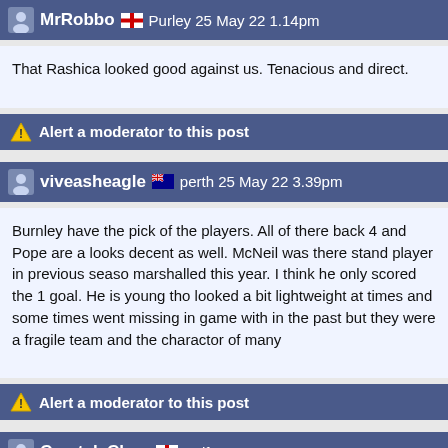MrRobbo 🏴󠁧󠁢󠁥󠁮󠁧󠁿 Purley 25 May 22 1.14pm
That Rashica looked good against us. Tenacious and direct.
Alert a moderator to this post
viveasheagle 🇦🇺 perth 25 May 22 3.39pm
Burnley have the pick of the players. All of there back 4 and Pope are a looks decent as well. McNeil was there stand player in previous seaso marshalled this year. I think he only scored the 1 goal. He is young tho looked a bit lightweight at times and some times went missing in game with in the past but they were a fragile team and the charactor of many
Alert a moderator to this post
Crystal_Clear 🏴󠁧󠁢󠁥󠁮󠁧󠁿 Belfast 25 May 22 10.20pm
Pretty sure I read somewhere Cornet's release clause is 17m.